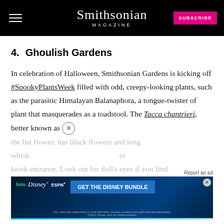Smithsonian MAGAZINE
4. Ghoulish Gardens
In celebration of Halloween, Smithsonian Gardens is kicking off #SpookyPlantsWeek filled with odd, creepy-looking plants, such as the parasitic Himalayan Balanaphora, a tongue-twister of plant that masquerades as a toadstool. The Tacca chantrieri, better known as the bat flower, has black flowers and long whiskers near the kiosk entrance. Look out for doll's eyes if you find
[Figure (screenshot): Disney Bundle advertisement banner with Hulu, Disney+, ESPN+ logos and GET THE DISNEY BUNDLE call to action]